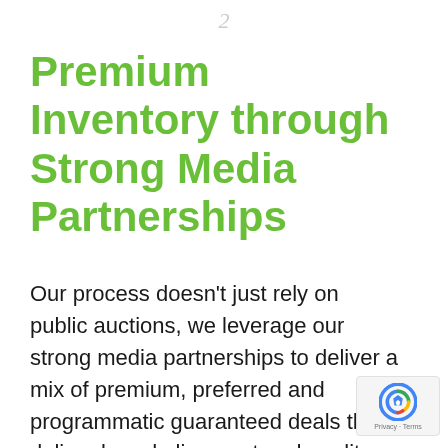2
Premium Inventory through Strong Media Partnerships
Our process doesn't just rely on public auctions, we leverage our strong media partnerships to deliver a mix of premium, preferred and programmatic guaranteed deals that deliver brand alignment and quality impressions